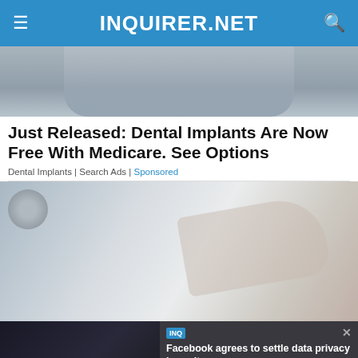INQUIRER.NET
[Figure (photo): Partial photo of a person, showing torso and arms]
Just Released: Dental Implants Are Now Free With Medicare. See Options
Dental Implants | Search Ads | Sponsored
[Figure (photo): Photo of a hand near a bathroom faucet/sink]
[Figure (screenshot): Video player overlay showing 'Facebook agrees to settle data privacy lawsuit' with media error message: 'The media could not be loaded, either because the server or network failed or because the format is not supported.']